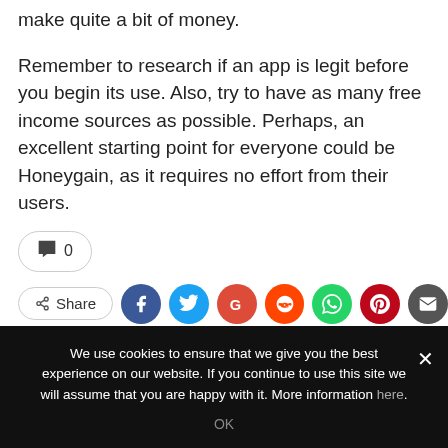make quite a bit of money.
Remember to research if an app is legit before you begin its use. Also, try to have as many free income sources as possible. Perhaps, an excellent starting point for everyone could be Honeygain, as it requires no effort from their users.
[Figure (infographic): Comment count button showing speech bubble icon and '0', followed by a Share button and a row of social media icon circles: Facebook (blue), Twitter (light blue), Google (red), Reddit (orange-red), WhatsApp (green), Pinterest (dark red), Email (dark gray).]
We use cookies to ensure that we give you the best experience on our website. If you continue to use this site we will assume that you are happy with it. More information here.
OK